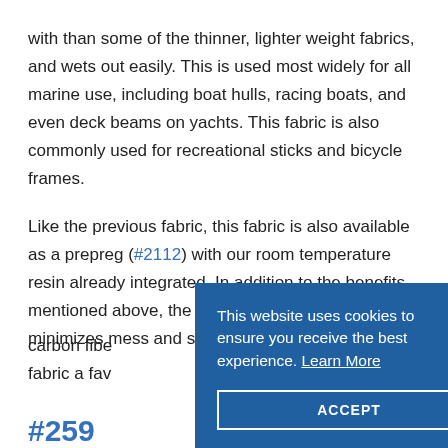with than some of the thinner, lighter weight fabrics, and wets out easily. This is used most widely for all marine use, including boat hulls, racing boats, and even deck beams on yachts. This fabric is also commonly used for recreational sticks and bicycle frames.
Like the previous fabric, this fabric is also available as a prepreg (#2112) with our room temperature resin already integrated. In addition to the benefits mentioned above, the prepreg process also minimizes mess and saves tim[e working with] carbon fibe[r...] fabric a fav[orite...]
#259...
This website uses cookies to ensure you receive the best experience. Learn More